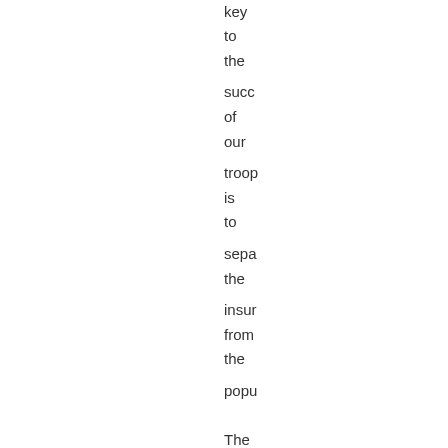key to the success of our troops is to separate the insurgents from the population The boots and shovels improved security in another